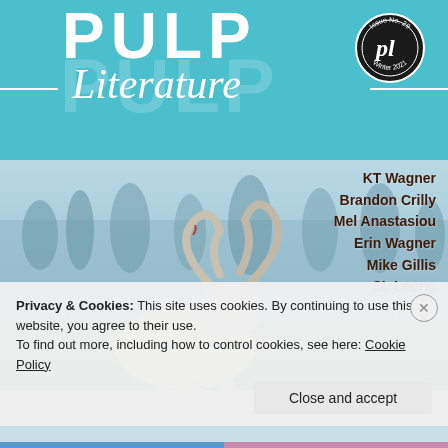PULP Literature
[Figure (illustration): Magazine cover of Pulp Literature Issue No. 29, Winter 2021. Features a white goat with large curled horns carrying a sword in a misty forest background. Teal header with 'PULP Literature' in white lettering and a circular badge logo top right.]
KT Wagner
Brandon Crilly
Mel Anastasiou
Erin Wagner
Mike Gillis
SL Leong
Privacy & Cookies: This site uses cookies. By continuing to use this website, you agree to their use.
To find out more, including how to control cookies, see here: Cookie Policy
Close and accept